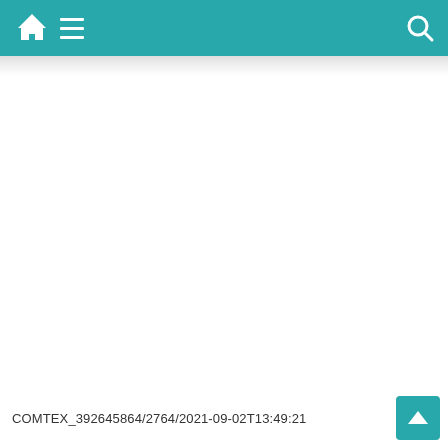COMTEX_392645864/2764/2021-09-02T13:49:21